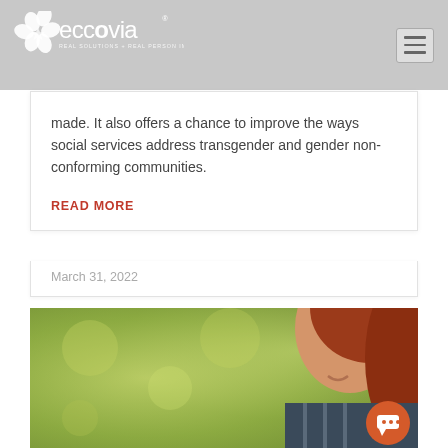eccovia — REAL SOLUTIONS + REAL PERSON IMPACT
made. It also offers a chance to improve the ways social services address transgender and gender non-conforming communities.
READ MORE
March 31, 2022
[Figure (photo): Close-up photo of a young woman with red hair smiling, with a blurred green outdoor background]